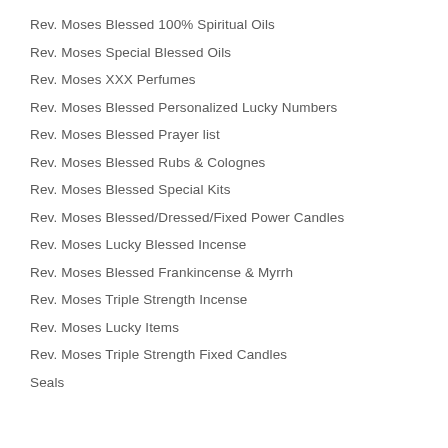Rev. Moses Blessed 100% Spiritual Oils
Rev. Moses Special Blessed Oils
Rev. Moses XXX Perfumes
Rev. Moses Blessed Personalized Lucky Numbers
Rev. Moses Blessed Prayer list
Rev. Moses Blessed Rubs & Colognes
Rev. Moses Blessed Special Kits
Rev. Moses Blessed/Dressed/Fixed Power Candles
Rev. Moses Lucky Blessed Incense
Rev. Moses Blessed Frankincense & Myrrh
Rev. Moses Triple Strength Incense
Rev. Moses Lucky Items
Rev. Moses Triple Strength Fixed Candles
Seals